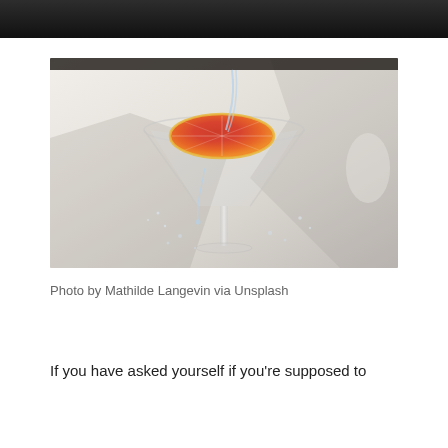[Figure (photo): A martini glass with a grapefruit/orange slice floating in clear liquid, with water splashing. Photographed on a light grey surface with dramatic shadows. Bokeh background showing dark liquor bottles on a shelf.]
Photo by Mathilde Langevin via Unsplash
If you have asked yourself if you're supposed to